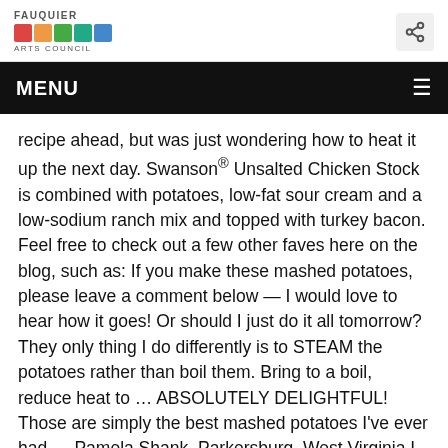FAUQUIER ARTS COUNCIL
MENU
recipe ahead, but was just wondering how to heat it up the next day. Swanson® Unsalted Chicken Stock is combined with potatoes, low-fat sour cream and a low-sodium ranch mix and topped with turkey bacon. Feel free to check out a few other faves here on the blog, such as: If you make these mashed potatoes, please leave a comment below — I would love to hear how it goes! Or should I just do it all tomorrow? They only thing I do differently is to STEAM the potatoes rather than boil them. Bring to a boil, reduce heat to … ABSOLUTELY DELIGHTFUL! Those are simply the best mashed potatoes I've ever had. —Pamela Shank, Parkersburg, West Virginia I assume the flavor comes out fine, but I'm going to try these for Christmas and will probably put the garlic in with the butter and saute them before adding the milk… thoughts? You can do loads of tasty things with leftover mash. ★☆. How much